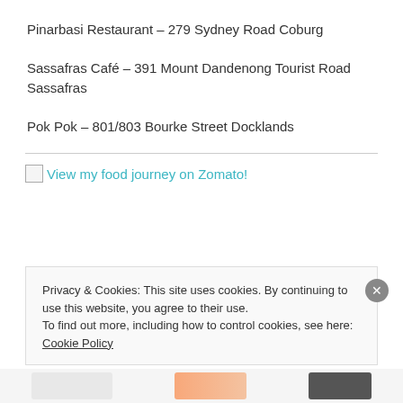Pinarbasi Restaurant  – 279 Sydney Road Coburg
Sassafras Café – 391 Mount Dandenong Tourist Road Sassafras
Pok Pok – 801/803 Bourke Street Docklands
View my food journey on Zomato!
Privacy & Cookies: This site uses cookies. By continuing to use this website, you agree to their use.
To find out more, including how to control cookies, see here: Cookie Policy
Close and accept